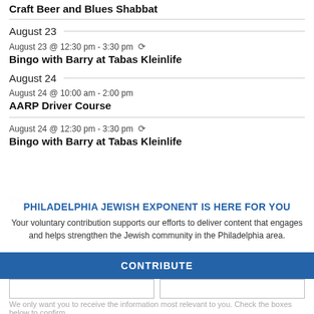Craft Beer and Blues Shabbat
August 23
August 23 @ 12:30 pm - 3:30 pm  🔁
Bingo with Barry at Tabas Kleinlife
August 24
August 24 @ 10:00 am - 2:00 pm
AARP Driver Course
August 24 @ 12:30 pm - 3:30 pm  🔁
Bingo with Barry at Tabas Kleinlife
PHILADELPHIA JEWISH EXPONENT IS HERE FOR YOU
Your voluntary contribution supports our efforts to deliver content that engages and helps strengthen the Jewish community in the Philadelphia area.
CONTRIBUTE
We only want you to receive the information most relevant to you. Check the boxes below to confirm